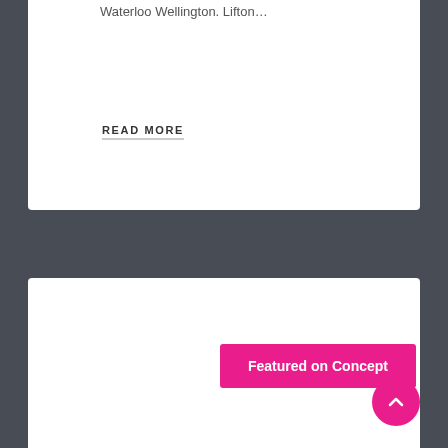Waterloo Wellington. Lifton…
READ MORE
[Figure (other): White card section with blank image area below a dark grey background separator]
Featured on Concept